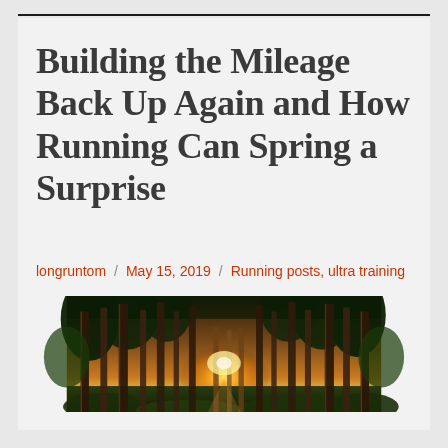Building the Mileage Back Up Again and How Running Can Spring a Surprise
longruntom / May 15, 2019 / Running posts, ultra training
[Figure (photo): A forest of tall pine trees with sunlight streaming through the trunks from the horizon, green foliage and ferns in the foreground]